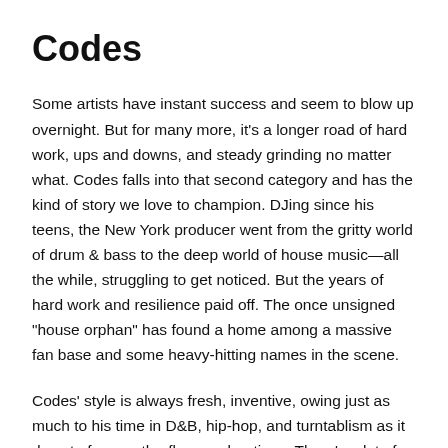Codes
Some artists have instant success and seem to blow up overnight. But for many more, it’s a longer road of hard work, ups and downs, and steady grinding no matter what. Codes falls into that second category and has the kind of story we love to champion. DJing since his teens, the New York producer went from the gritty world of drum & bass to the deep world of house music—all the while, struggling to get noticed. But the years of hard work and resilience paid off. The once unsigned “house orphan” has found a home among a massive fan base and some heavy-hitting names in the scene.
Codes’ style is always fresh, inventive, owing just as much to his time in D&B, hip-hop, and turntablism as it does to four-on-the-floor explorations. There’s a lot of low-end and a lot of